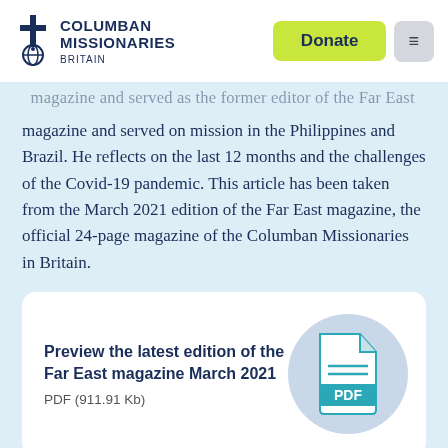Columban Missionaries Britain
magazine and served on mission in the Philippines and Brazil. He reflects on the last 12 months and the challenges of the Covid-19 pandemic. This article has been taken from the March 2021 edition of the Far East magazine, the official 24-page magazine of the Columban Missionaries in Britain.
[Figure (other): A white card containing text about previewing the Far East magazine March 2021 PDF (911.91 Kb) and a PDF icon in a light blue circle]
Preview the latest edition of the Far East magazine March 2021
PDF (911.91 Kb)